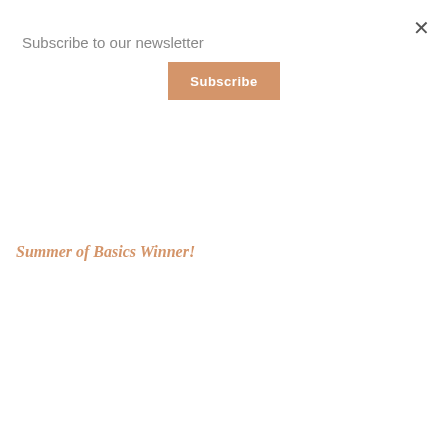×
Subscribe to our newsletter
Subscribe
Summer of Basics Winner!